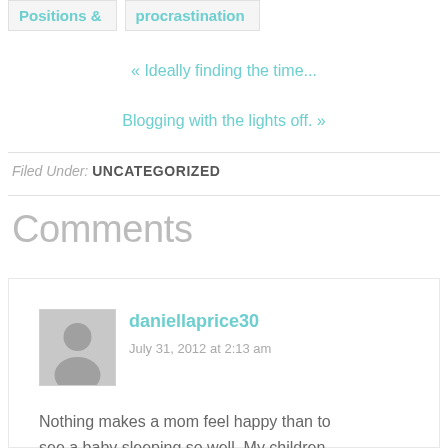Positions &
procrastination
« Ideally finding the time...
Blogging with the lights off. »
Filed Under: UNCATEGORIZED
Comments
daniellaprice30
July 31, 2012 at 2:13 am
Nothing makes a mom feel happy than to see a baby sleeping so well. My children